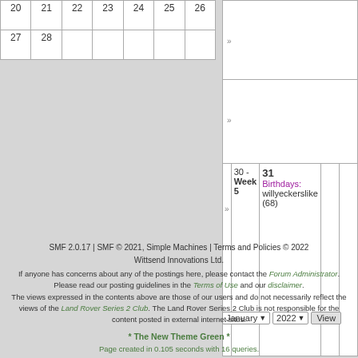| 20 | 21 | 22 | 23 | 24 | 25 | 26 |
| 27 | 28 |  |  |  |  |  |
30 - Week 5
31
Birthdays:
willyeckerslike (68)
January 2022 View
SMF 2.0.17 | SMF © 2021, Simple Machines | Terms and Policies © 2022
Wittsend Innovations Ltd.
If anyone has concerns about any of the postings here, please contact the Forum Administrator. Please read our posting guidelines in the Terms of Use and our disclaimer.
The views expressed in the contents above are those of our users and do not necessarily reflect the views of the Land Rover Series 2 Club. The Land Rover Series 2 Club is not responsible for the content posted in external internet sites.
* The New Theme Green *
Page created in 0.105 seconds with 16 queries.